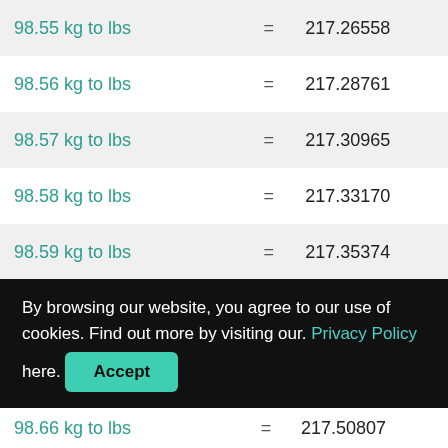| Conversion | = | Result |
| --- | --- | --- |
| 98.55 kg to lbs | = | 217.26558 |
| 98.56 kg to lbs | = | 217.28761 |
| 98.57 kg to lbs | = | 217.30965 |
| 98.58 kg to lbs | = | 217.33170 |
| 98.59 kg to lbs | = | 217.35374 |
| 98.6 kg to lbs | = | 217.37579 |
| 98.61 kg to lbs | = | 217.39784 |
| 98.62 kg to lbs | = | 217.41988 |
| 98.66 kg to lbs | = | 217.50807 |
By browsing our website, you agree to our use of cookies. Find out more by visiting our. Privacy Policy here. Accept